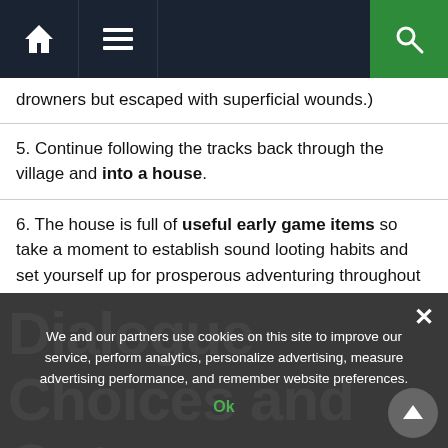Navigation bar with home, menu, and search icons
drowners but escaped with superficial wounds.)
5. Continue following the tracks back through the village and into a house.
6. The house is full of useful early game items so take a moment to establish sound looting habits and set yourself up for prosperous adventuring throughout the rest of the game.
7. Geralt will find the injured arsonist in the back room of the building.
Dialogue Choices and Outcomes
We and our partners use cookies on this site to improve our service, perform analytics, personalize advertising, measure advertising performance, and remember website preferences.
Ok